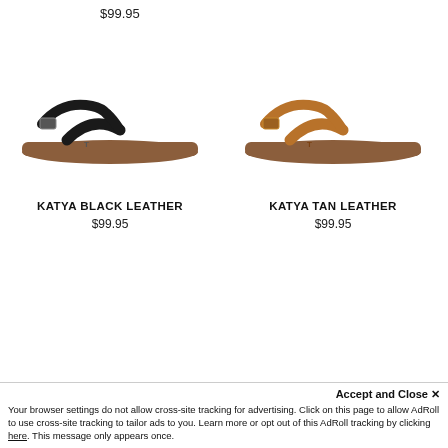$99.95
[Figure (photo): Black leather flat sandal (Katya Black Leather) on white background]
[Figure (photo): Tan leather flat sandal (Katya Tan Leather) on white background]
KATYA BLACK LEATHER
$99.95
KATYA TAN LEATHER
$99.95
Accept and Close ✕
Your browser settings do not allow cross-site tracking for advertising. Click on this page to allow AdRoll to use cross-site tracking to tailor ads to you. Learn more or opt out of this AdRoll tracking by clicking here. This message only appears once.